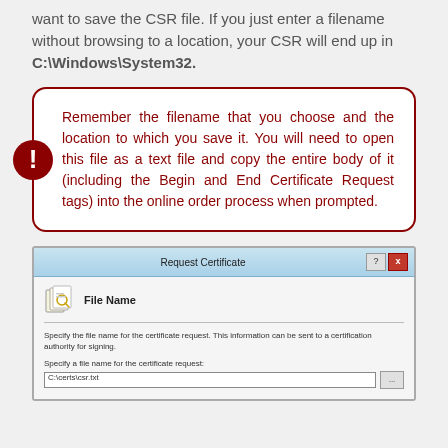want to save the CSR file. If you just enter a filename without browsing to a location, your CSR will end up in C:\Windows\System32.
Remember the filename that you choose and the location to which you save it. You will need to open this file as a text file and copy the entire body of it (including the Begin and End Certificate Request tags) into the online order process when prompted.
[Figure (screenshot): Windows dialog box titled 'Request Certificate' showing a 'File Name' step with a field labeled 'Specify a file name for the certificate request:' pre-filled with 'C:\certs\csr.txt' and a browse button.]